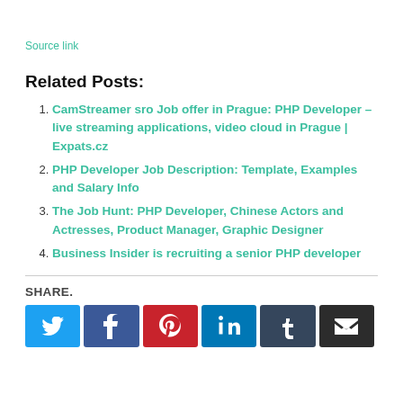Source link
Related Posts:
CamStreamer sro Job offer in Prague: PHP Developer – live streaming applications, video cloud in Prague | Expats.cz
PHP Developer Job Description: Template, Examples and Salary Info
The Job Hunt: PHP Developer, Chinese Actors and Actresses, Product Manager, Graphic Designer
Business Insider is recruiting a senior PHP developer
SHARE.